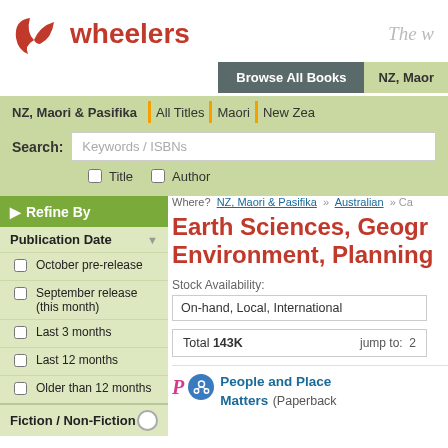[Figure (logo): Wheelers logo: red stylized flower/book icon with 'wheelers' in red bold text]
The w
Browse All Books
NZ, Maori
NZ, Maori & Pasifika  All Titles  Maori  New Zea
Search: Keywords / ISBNs
Title   Author
Where? NZ, Maori & Pasifika » Australian » Ca
Earth Sciences, Geogr Environment, Planning
Stock Availability:
On-hand, Local, International
Total 143K   jump to: 2
Refine By
Publication Date
October pre-release
September release (this month)
Last 3 months
Last 12 months
Older than 12 months
Fiction / Non-Fiction
People and Place Matters (Paperback